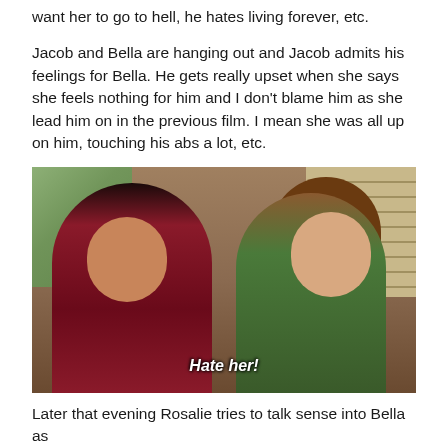want her to go to hell, he hates living forever, etc.
Jacob and Bella are hanging out and Jacob admits his feelings for Bella. He gets really upset when she says she feels nothing for him and I don't blame him as she lead him on in the previous film. I mean she was all up on him, touching his abs a lot, etc.
[Figure (photo): Two young women sitting together appearing shocked/excited, with subtitle text 'Hate her!' overlaid in white italic text at the bottom center of the image. Scene appears to be from a TV show or movie set in a kitchen/dining area with wood paneling, a window with green foliage, and horizontal blinds visible in the background.]
Later that evening Rosalie tries to talk sense into Bella as